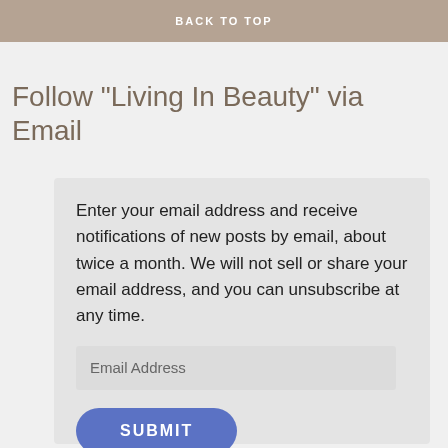companies. As an Associate, Living In Beauty may earn a small stipend from qualifying purchases.
BACK TO TOP
Follow "Living In Beauty" via Email
Enter your email address and receive notifications of new posts by email, about twice a month. We will not sell or share your email address, and you can unsubscribe at any time.